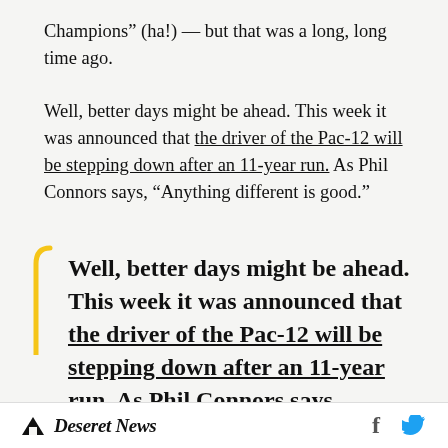Champions” (ha!) — but that was a long, long time ago.

Well, better days might be ahead. This week it was announced that the driver of the Pac-12 will be stepping down after an 11-year run. As Phil Connors says, “Anything different is good.”
Well, better days might be ahead. This week it was announced that the driver of the Pac-12 will be stepping down after an 11-year run. As Phil Connors says, “Anything different is
Deseret News